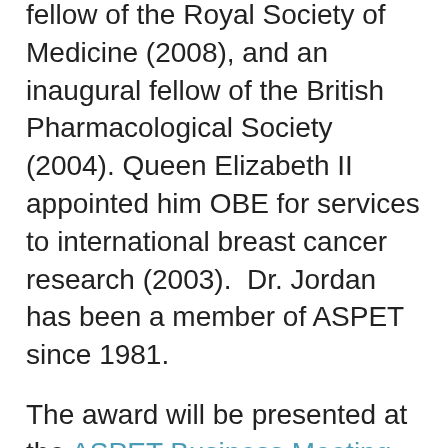fellow of the Royal Society of Medicine (2008), and an inaugural fellow of the British Pharmacological Society (2004). Queen Elizabeth II appointed him OBE for services to international breast cancer research (2003). Dr. Jordan has been a member of ASPET since 1981.
The award will be presented at the ASPET Business Meeting and Awards Presentation during the ASPET Annual Meeting at Experimental Biology 2019 in Orlando, FL on Saturday, April 6, 2019 from 4:30 pm – 6:00 pm.
Dr. Jordan will deliver the Reynold Spector Award in Clinical...